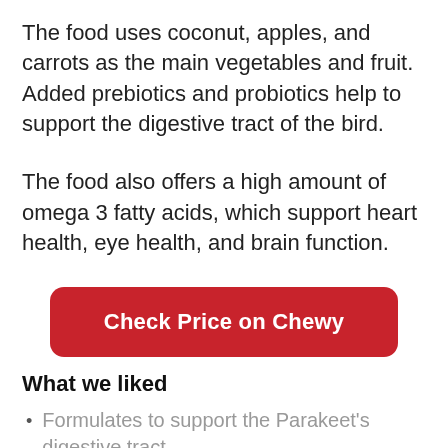The food uses coconut, apples, and carrots as the main vegetables and fruit. Added prebiotics and probiotics help to support the digestive tract of the bird.
The food also offers a high amount of omega 3 fatty acids, which support heart health, eye health, and brain function.
[Figure (other): Red rounded rectangle button with white bold text reading 'Check Price on Chewy']
What we liked
Formulates to support the Parakeet's digestive tract